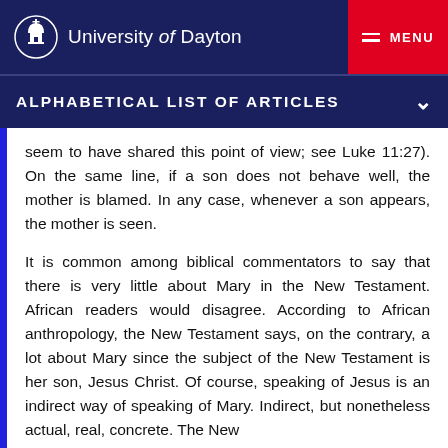University of Dayton | MENU
ALPHABETICAL LIST OF ARTICLES
seem to have shared this point of view; see Luke 11:27). On the same line, if a son does not behave well, the mother is blamed. In any case, whenever a son appears, the mother is seen.
It is common among biblical commentators to say that there is very little about Mary in the New Testament. African readers would disagree. According to African anthropology, the New Testament says, on the contrary, a lot about Mary since the subject of the New Testament is her son, Jesus Christ. Of course, speaking of Jesus is an indirect way of speaking of Mary. Indirect, but nonetheless actual, real, concrete. The New